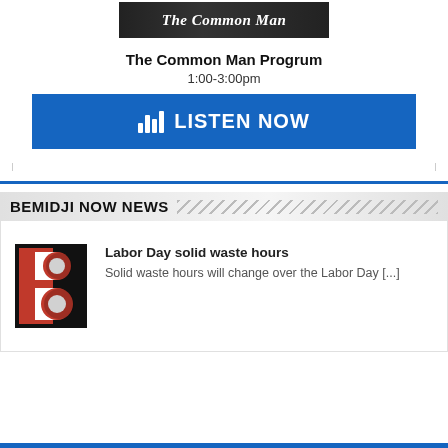[Figure (screenshot): The Common Man Progrum show image banner with dark background and white text]
The Common Man Progrum
1:00-3:00pm
[Figure (other): Blue LISTEN NOW button with audio bars icon]
BEMIDJI NOW NEWS
[Figure (logo): Bemidji Now B logo in red and black]
Labor Day solid waste hours
Solid waste hours will change over the Labor Day [...]